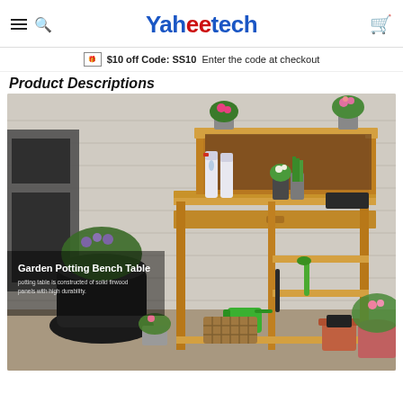Yaheetech
$10 off Code: SS10  Enter the code at checkout
Product Descriptions
[Figure (photo): Garden Potting Bench Table made of solid firwood panels with high durability. Wooden bench shown outdoors with plants, spray bottles, a watering can, a wicker basket, and flower pots around it. Text overlay reads: 'Garden Potting Bench Table' and 'potting table is constructed of solid firwood panels with high durability.']